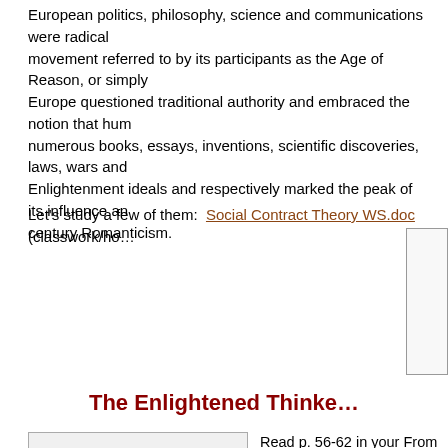European politics, philosophy, science and communications were radically reoriented during a movement referred to by its participants as the Age of Reason, or simply the Enlightenment. Europe questioned traditional authority and embraced the notion that humanity could be improved by numerous books, essays, inventions, scientific discoveries, laws, wars and revolutions. Enlightenment ideals and respectively marked the peak of its influence and led to 19th-century Romanticism.
Let's study a few of them:  Social Contract Theory WS.doc (classwork/ho…
The Enlightened Thinke…
[Figure (photo): Image placeholder box on the left side]
Read p. 56-62 in your From Colonies … questions in your COMP books:
1. Why do you believe the founding fa…
2. We discussed how the colonists did … themselves as "English" either.  So wh…
3. Who was responsible for the Comm…
4. Who were the Sons of Liberty?  Wh…